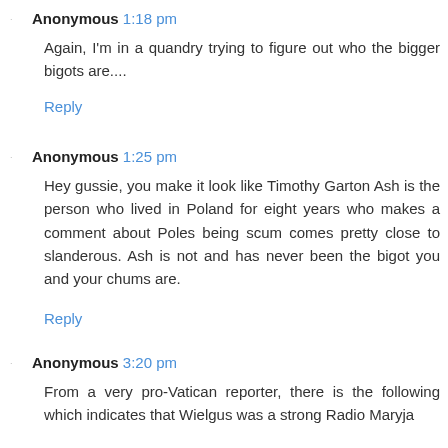Anonymous 1:18 pm
Again, I'm in a quandry trying to figure out who the bigger bigots are....
Reply
Anonymous 1:25 pm
Hey gussie, you make it look like Timothy Garton Ash is the person who lived in Poland for eight years who makes a comment about Poles being scum comes pretty close to slanderous. Ash is not and has never been the bigot you and your chums are.
Reply
Anonymous 3:20 pm
From a very pro-Vatican reporter, there is the following which indicates that Wielgus was a strong Radio Maryja